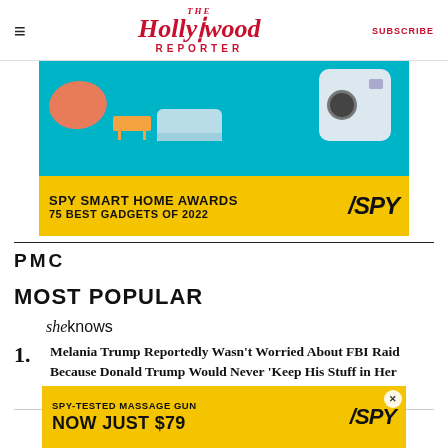≡  The Hollywood Reporter  SUBSCRIBE
[Figure (illustration): SPY Smart Home Awards advertisement banner showing smart home gadgets on teal background with yellow bar reading 'SPY SMART HOME AWARDS / 75 BEST GADGETS OF 2022' and SPY logo]
[Figure (logo): PMC logo in black text]
MOST POPULAR
[Figure (logo): SheKnows logo in italic serif text]
1. Melania Trump Reportedly Wasn't Worried About FBI Raid Because Donald Trump Would Never 'Keep His Stuff in Her Room'
[Figure (illustration): SPY-Tested Massage Gun advertisement banner with yellow background reading 'SPY-TESTED MASSAGE GUN / NOW JUST $79' and SPY logo]